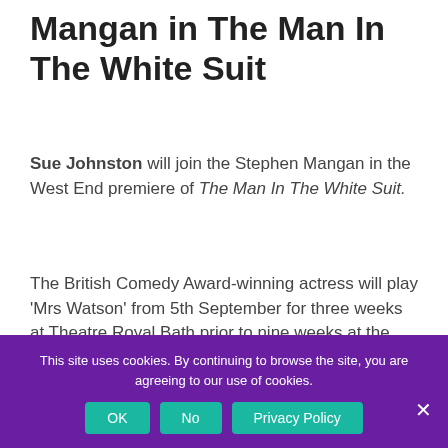Mangan in The Man In The White Suit
Sue Johnston will join the Stephen Mangan in the West End premiere of The Man In The White Suit.
The British Comedy Award-winning actress will play 'Mrs Watson' from 5th September for three weeks at Theatre Royal Bath prior to nine weeks at the Wyndham's Theatre from 26th September.
This site uses cookies. By continuing to browse the site, you are agreeing to our use of cookies.